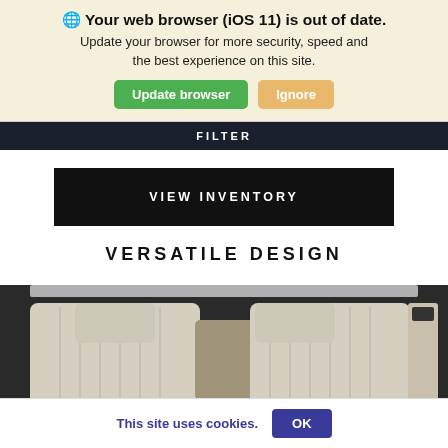🌐 Your web browser (iOS 11) is out of date. Update your browser for more security, speed and the best experience on this site.
Update browser | Ignore
FILTER
VIEW INVENTORY
VERSATILE DESIGN
[Figure (photo): Top-down view of a luxury SUV interior showing white/cream leather seats arranged in two rows, viewed from above]
This site uses cookies.  OK